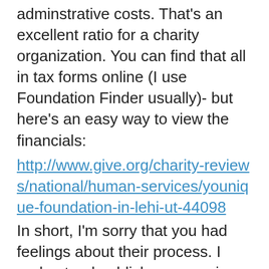adminstrative costs. That's an excellent ratio for a charity organization. You can find that all in tax forms online (I use Foundation Finder usually)- but here's an easy way to view the financials:
http://www.give.org/charity-reviews/national/human-services/younique-foundation-in-lehi-ut-44098
In short, I'm sorry that you had feelings about their process. I understand publicly announcing that you felt uncomfortable during the intake process. I appreciate knowing that before I attend the